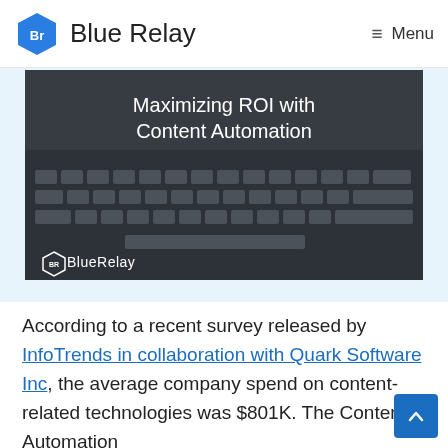Blue Relay — Menu
[Figure (screenshot): Hero image of a laptop keyboard with dark overlay, showing the title 'Maximizing ROI with Content Automation' and the BlueRelay logo in the lower left corner.]
According to a recent survey released by InfoTrends in collaboration with Quark Software Inc, the average company spend on content-related technologies was $801K. The Content Automation